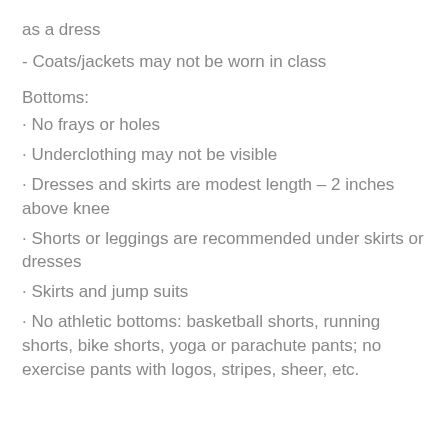as a dress
- Coats/jackets may not be worn in class
Bottoms:
· No frays or holes
· Underclothing may not be visible
· Dresses and skirts are modest length – 2 inches above knee
· Shorts or leggings are recommended under skirts or dresses
· Skirts and jump suits
· No athletic bottoms: basketball shorts, running shorts, bike shorts, yoga or parachute pants; no exercise pants with logos, stripes, sheer, etc.